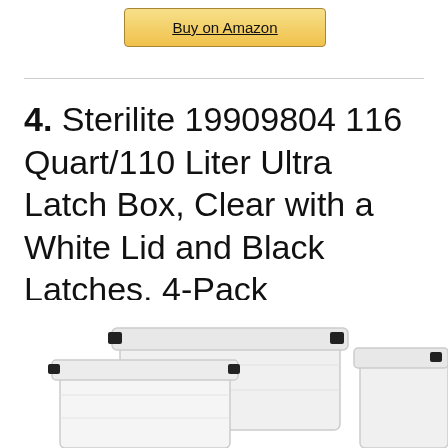Buy on Amazon
4. Sterilite 19909804 116 Quart/110 Liter Ultra Latch Box, Clear with a White Lid and Black Latches, 4-Pack
[Figure (photo): Two clear plastic storage boxes with white lids and black latches, shown partially at the bottom of the page.]